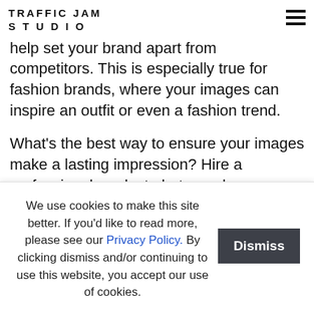TRAFFIC JAM STUDIO
help set your brand apart from competitors. This is especially true for fashion brands, where your images can inspire an outfit or even a fashion trend.
What's the best way to ensure your images make a lasting impression? Hire a professional product photographer. The...
We use cookies to make this site better. If you'd like to read more, please see our Privacy Policy. By clicking dismiss and/or continuing to use this website, you accept our use of cookies.